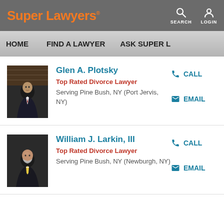Super Lawyers
SEARCH  LOGIN
HOME  FIND A LAWYER  ASK SUPER L
Glen A. Plotsky
Top Rated Divorce Lawyer
Serving Pine Bush, NY (Port Jervis, NY)
CALL  EMAIL
William J. Larkin, III
Top Rated Divorce Lawyer
Serving Pine Bush, NY (Newburgh, NY)
CALL  EMAIL